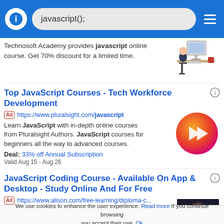javascript();
Technosoft Academy provides javascript online course. Get 70% discount for a limited time.
[Figure (illustration): Person sitting at a computer desk illustration]
Top JavaScript Courses - Tech Workforce Development
Ad https://www.pluralsight.com/javascript
Learn JavaScript with in-depth online courses from Pluralsight Authors. JavaScript courses for beginners all the way to advanced courses.
Deal: 33% off Annual Subscription
Valid Aug 15 - Aug 26
[Figure (logo): Pluralsight orange-to-pink circular logo with play button arrow]
JavaScript Coding Course - Available On App & Desktop - Study Online And For Free
Ad https://www.alison.com/free-learning/diploma-c...
[Figure (photo): Dark photo thumbnail]
We use cookies to enhance the user experience. Read more If you continue browsing you accept their use. Ok